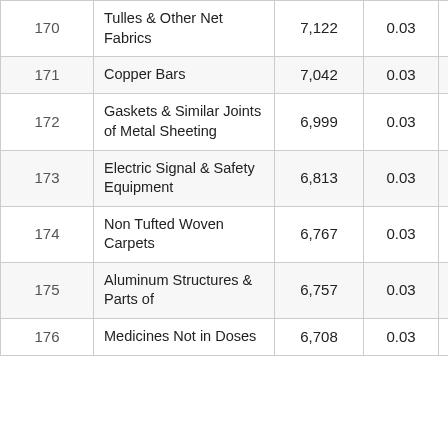| 170 | Tulles & Other Net Fabrics | 7,122 | 0.03 | 384.17 |
| 171 | Copper Bars | 7,042 | 0.03 | 8,026.02 |
| 172 | Gaskets & Similar Joints of Metal Sheeting | 6,999 | 0.03 | 132.97 |
| 173 | Electric Signal & Safety Equipment | 6,813 | 0.03 | 102.63 |
| 174 | Non Tufted Woven Carpets | 6,767 | 0.03 | 109.42 |
| 175 | Aluminum Structures & Parts of | 6,757 | 0.03 | 11.44 |
| 176 | Medicines Not in Doses | 6,708 | 0.03 | 1.79 |